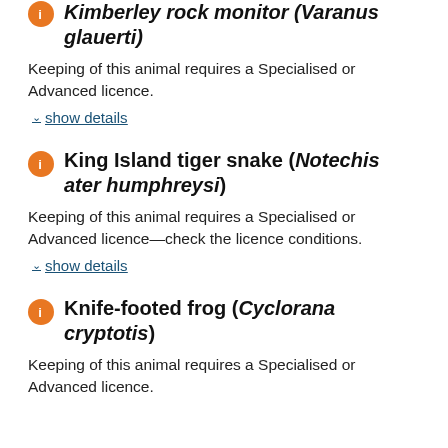Kimberley rock monitor (Varanus glauerti)
Keeping of this animal requires a Specialised or Advanced licence.
show details
King Island tiger snake (Notechis ater humphreysi)
Keeping of this animal requires a Specialised or Advanced licence—check the licence conditions.
show details
Knife-footed frog (Cyclorana cryptotis)
Keeping of this animal requires a Specialised or Advanced licence.